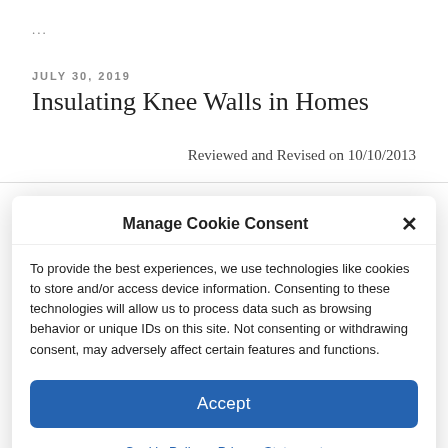...
JULY 30, 2019
Insulating Knee Walls in Homes
Reviewed and Revised on 10/10/2013
Manage Cookie Consent
To provide the best experiences, we use technologies like cookies to store and/or access device information. Consenting to these technologies will allow us to process data such as browsing behavior or unique IDs on this site. Not consenting or withdrawing consent, may adversely affect certain features and functions.
Accept
Cookie Policy  Privacy Statement